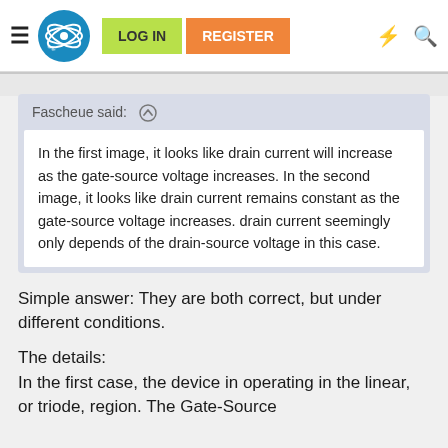LOG IN  REGISTER
Fascheue said: ↑

In the first image, it looks like drain current will increase as the gate-source voltage increases. In the second image, it looks like drain current remains constant as the gate-source voltage increases. drain current seemingly only depends of the drain-source voltage in this case.
Simple answer: They are both correct, but under different conditions.
The details:
In the first case, the device in operating in the linear, or triode, region. The Gate-Source